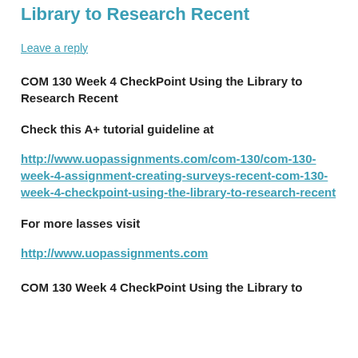Library to Research Recent
Leave a reply
COM 130 Week 4 CheckPoint Using the Library to Research Recent
Check this A+ tutorial guideline at
http://www.uopassignments.com/com-130/com-130-week-4-assignment-creating-surveys-recent-com-130-week-4-checkpoint-using-the-library-to-research-recent
For more lasses visit
http://www.uopassignments.com
COM 130 Week 4 CheckPoint Using the Library to